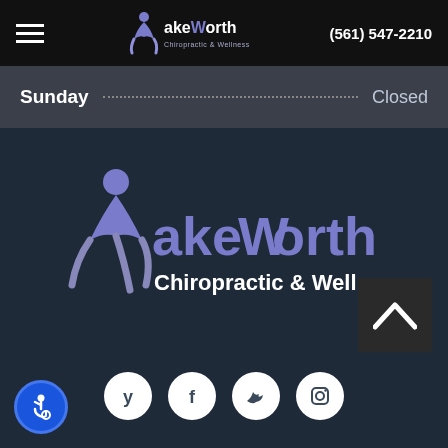LakeWorth Chiropractic & Wellness | (561) 547-2210
| Day | Hours |
| --- | --- |
| Sunday | Closed |
[Figure (logo): Lake Worth Chiropractic & Wellness logo with figure icon in purple tones on dark background]
[Figure (other): Back to top arrow button, dark square with white upward chevron]
[Figure (other): Social media icons row: Yelp, Facebook, Twitter, Instagram - white circular icons on dark background]
[Figure (other): Accessibility icon - blue circular badge with wheelchair symbol]